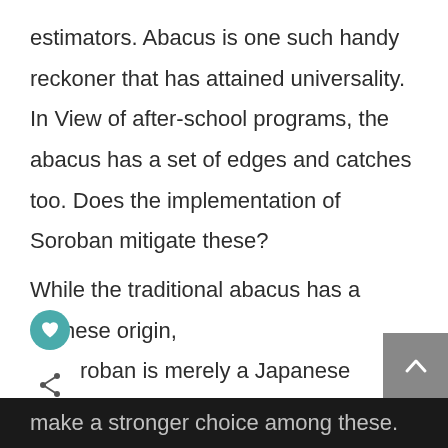estimators. Abacus is one such handy reckoner that has attained universality. In View of after-school programs, the abacus has a set of edges and catches too. Does the implementation of Soroban mitigate these?
While the traditional abacus has a Chinese origin, Soroban is merely a Japanese version derived from it. We will inculcate you with pivotal contrasting traits between Abacus and Soroban, easing you to make a stronger choice among these.